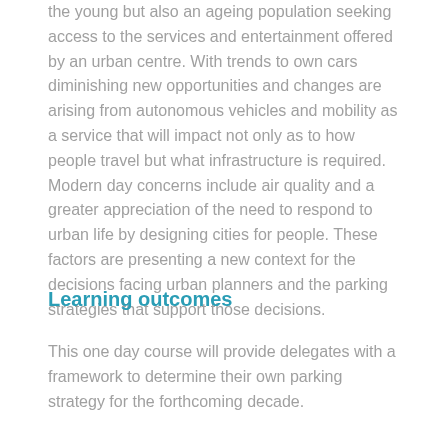the young but also an ageing population seeking access to the services and entertainment offered by an urban centre. With trends to own cars diminishing new opportunities and changes are arising from autonomous vehicles and mobility as a service that will impact not only as to how people travel but what infrastructure is required. Modern day concerns include air quality and a greater appreciation of the need to respond to urban life by designing cities for people. These factors are presenting a new context for the decisions facing urban planners and the parking strategies that support those decisions.
Learning outcomes
This one day course will provide delegates with a framework to determine their own parking strategy for the forthcoming decade.